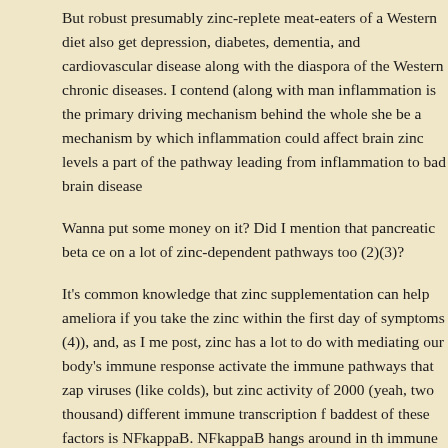But robust presumably zinc-replete meat-eaters of a Western diet also get depression, diabetes, dementia, and cardiovascular disease along with the diaspora of the Western chronic diseases. I contend (along with many) that inflammation is the primary driving mechanism behind the whole shebang. Could be a mechanism by which inflammation could affect brain zinc levels, and be a part of the pathway leading from inflammation to bad brain disease.

Wanna put some money on it? Did I mention that pancreatic beta cells rely on a lot of zinc-dependent pathways too (2)(3)?

It's common knowledge that zinc supplementation can help ameliorate colds if you take the zinc within the first day of symptoms (4)), and, as I mentioned in a post, zinc has a lot to do with mediating our body's immune response. Zinc can activate the immune pathways that zap viruses (like colds), but zinc also modulates the activity of 2000 (yeah, two thousand) different immune transcription factors. The baddest of these factors is NFkappaB. NFkappaB hangs around in the nuclei of immune cells and helps them make all sorts of inflammatory cytokines and other perceived bad guys - good old inflammatory frenemies such as IL-6, TNF-alpha, and many, many more. (Yesterday I noted that zinc deficiency is associated with increased IL-6, and on review of several articles, it seems that high age-related associated high IL-6. It is probably a part of what I discuss in the next post, and I'll look into it more, as a lot of the work is done by the Polish group o